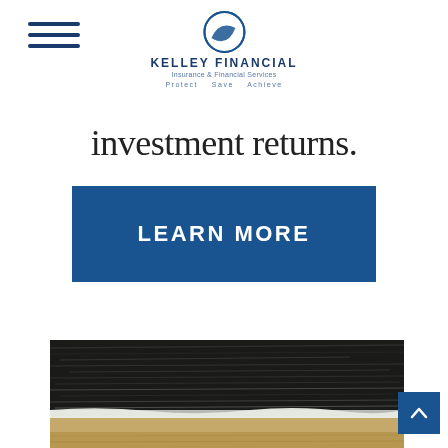Kelley Financial — Insurance & Financial Services — Protect Save Achieve
investment returns.
[Figure (other): Blue CTA button with text LEARN MORE]
[Figure (photo): Aerial photograph of ocean waves breaking on a sandy beach, dark water with white foam and sandy shoreline]
[Figure (other): Blue back-to-top button with upward chevron arrow]